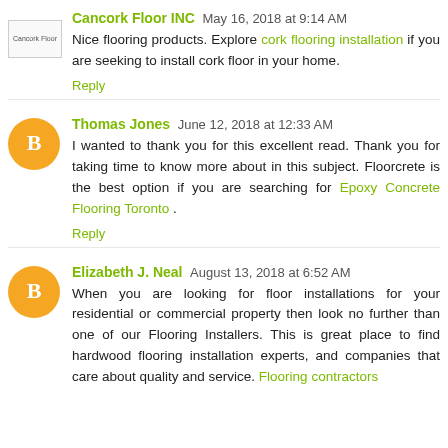Cancork Floor INC  May 16, 2018 at 9:14 AM
Nice flooring products. Explore cork flooring installation if you are seeking to install cork floor in your home.
Reply
Thomas Jones  June 12, 2018 at 12:33 AM
I wanted to thank you for this excellent read. Thank you for taking time to know more about in this subject. Floorcrete is the best option if you are searching for Epoxy Concrete Flooring Toronto .
Reply
Elizabeth J. Neal  August 13, 2018 at 6:52 AM
When you are looking for floor installations for your residential or commercial property then look no further than one of our Flooring Installers. This is great place to find hardwood flooring installation experts, and companies that care about quality and service. Flooring contractors